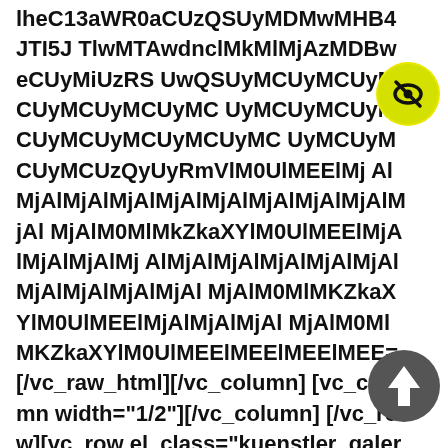lheC13aWR0aCUzQSUyMDMwMHB4JTI5J TlwMTAwdnclMkMlMjAzMDBweCUyMiUzRS UwQSUyMCUyMCUyMCUyMCUyMCUyMC UyMCUyMCUyMCUyMCUyMCUyMCUyMC UyMCUyMCUyMCUzQyUyRmVlM0UlMEElMj AlMjAlMjAlMjAlMjAlMjAlMjAlMjAlMjAlMjAl MjAlM0MlMkZkaXYlM0UlMEElMjAlMjAlMjAlMj AlMjAlMjAlMjAlMjAlMjAlMjAlMjAlMjAlMjAl MjAlM0MlMKZkaXYlM0UlMEElMjAlMjAlMjAl MjAlM0MlMKZkaXYlM0UlMEElMEElMEElMEE= [/vc_raw_html][/vc_column] [vc_column width="1/2"][/vc_column] [/vc_row][vc_row el_class="kuenstler_galerie" css=".vc_custom_1521297069892{margin-top: 3em !important;margin-bottom: 1em !important;}"][vc_column] [vc_content][/vc
[Figure (logo): Yellow circle badge with a crossed-out eye icon in black]
[Figure (logo): Dark grey circle badge with an upward arrow icon in white]